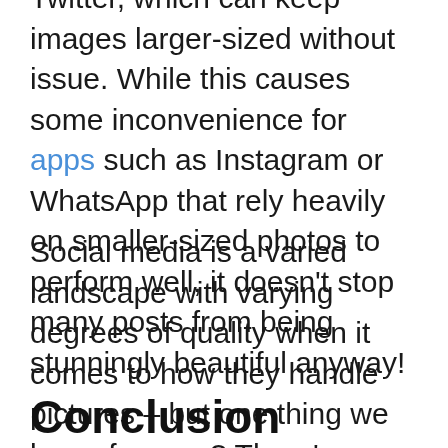Twitter, which can keep images larger-sized without issue. While this causes some inconvenience for apps such as Instagram or WhatsApp that rely heavily on smaller-sized photos to perform well, it doesn't stop many posts from being stunningly beautiful anyway!
Social media is a varied landscape with varying degrees of quality when it comes to how they handle pictures – but one thing we know for sure? There's no way you're going to be disappointed by an Instagram post (or any photo) because its maximum size limit still leaves plenty enough room for high-resolution content while not bogging down
Conclusion